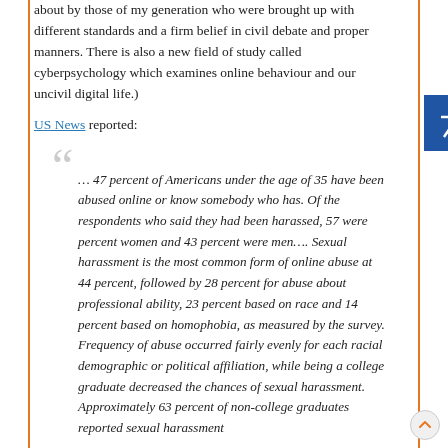about by those of my generation who were brought up with different standards and a firm belief in civil debate and proper manners. There is also a new field of study called cyberpsychology which examines online behaviour and our uncivil digital life.)
US News reported:
… 47 percent of Americans under the age of 35 have been abused online or know somebody who has. Of the respondents who said they had been harassed, 57 were percent women and 43 percent were men…. Sexual harassment is the most common form of online abuse at 44 percent, followed by 28 percent for abuse about professional ability, 23 percent based on race and 14 percent based on homophobia, as measured by the survey. Frequency of abuse occurred fairly evenly for each racial demographic or political affiliation, while being a college graduate decreased the chances of sexual harassment. Approximately 63 percent of non-college graduates reported sexual harassment